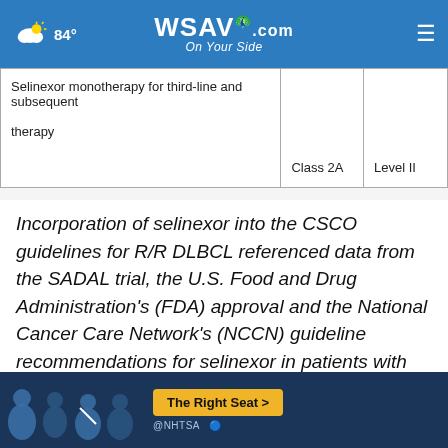[Figure (screenshot): WSAV.com news website header navigation bar with weather (84°), WSAV logo with NBC peacock, and hamburger menu on blue background]
| Selinexor monotherapy for third-line and subsequent

therapy | Class 2A | Level II |
Incorporation of selinexor into the CSCO guidelines for R/R DLBCL referenced data from the SADAL trial, the U.S. Food and Drug Administration's (FDA) approval and the National Cancer Care Network's (NCCN) guideline recommendations for selinexor in patients with R/R D…
[Figure (screenshot): NHTSA seat safety advertisement banner with seat graphic icons and 'The Right Seat >' button in yellow, dark blue background, with close X button overlay]